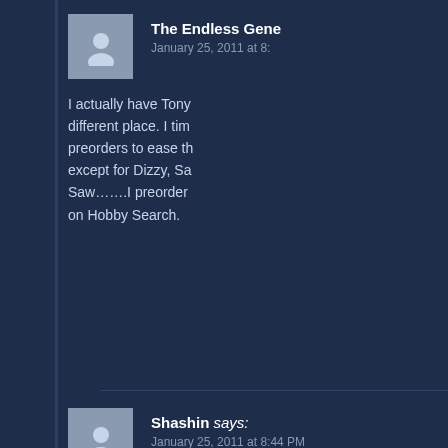The Endless Gene
January 25, 2011 at 8:
I actually have Tony different place. I tim preorders to ease th except for Dizzy, Sa Saw…….I preorder on Hobby Search.
Shashin says: January 25, 2011 at 8:44 PM
Dizzy was up for preorder when I was cutting back on ju denied it was a figure I needed, whether it was now or fo preorders closed, so I went with AmiAmi after they sent
Reply